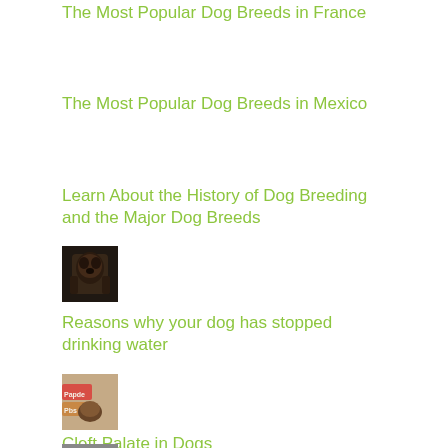The Most Popular Dog Breeds in France
The Most Popular Dog Breeds in Mexico
Learn About the History of Dog Breeding and the Major Dog Breeds
[Figure (photo): Close-up photo of a dog, dark tones, brownish-black fur]
Reasons why your dog has stopped drinking water
[Figure (photo): Photo of a dog with colorful labels/tags visible, appearing to be a small dog]
Cleft Palate in Dogs
[Figure (photo): Thumbnail photo partially visible at bottom of page]